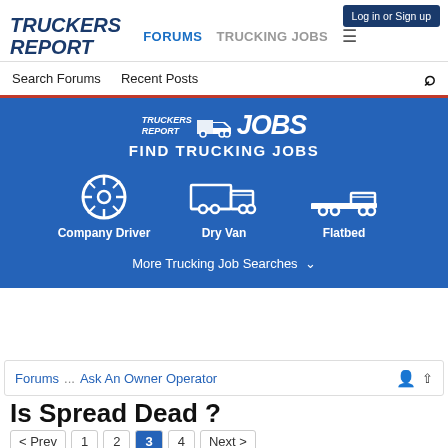TRUCKERS REPORT | FORUMS | TRUCKING JOBS | Log in or Sign up
Search Forums   Recent Posts
[Figure (infographic): Blue banner advertisement for Truckers Report Jobs — logo with truck icon, 'FIND TRUCKING JOBS' tagline, three category icons: Company Driver (steering wheel), Dry Van (box truck), Flatbed (flatbed truck), and 'More Trucking Job Searches' dropdown]
Forums ... Ask An Owner Operator
Is Spread Dead ?
< Prev  1  2  3  4  Next >